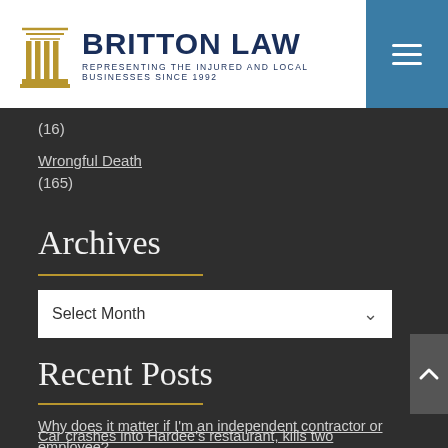BRITTON LAW — REPRESENTING THE INJURED AND LOCAL BUSINESSES SINCE 1992
(16)
Wrongful Death
(165)
Archives
Select Month
Recent Posts
Why does it matter if I'm an independent contractor or employee?
Product misrepresentation and your rights as a consumer
Car crashes into Hardee's restaurant, kills two